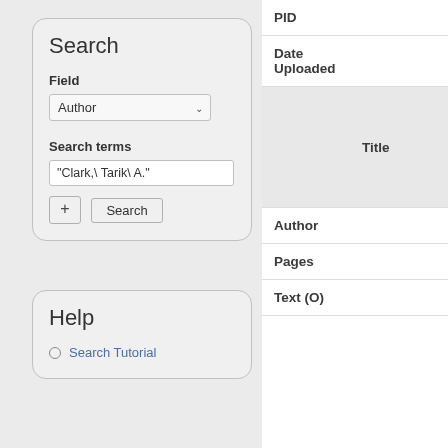Search
Field
Author
Search terms
"Clark,\ Tarik\ A."
Help
Search Tutorial
PID
Date
Uploaded
[Figure (other): Thumbnail of a document page with text]
Title
Author
Pages
Text (O)